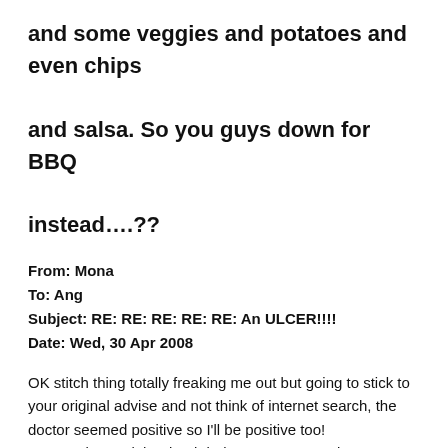and some veggies and potatoes and even chips and salsa. So you guys down for BBQ instead….??
From: Mona
To: Ang
Subject: RE: RE: RE: RE: RE: An ULCER!!!!
Date: Wed, 30 Apr 2008
OK stitch thing totally freaking me out but going to stick to your original advise and not think of internet search, the doctor seemed positive so I'll be positive too!
But IF I do need the dead dudes cornea I'm going to request a blue one as I've always wanted to have 2